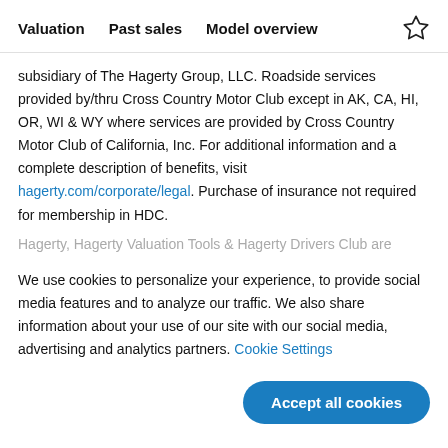Valuation   Past sales   Model overview
subsidiary of The Hagerty Group, LLC. Roadside services provided by/thru Cross Country Motor Club except in AK, CA, HI, OR, WI & WY where services are provided by Cross Country Motor Club of California, Inc. For additional information and a complete description of benefits, visit hagerty.com/corporate/legal. Purchase of insurance not required for membership in HDC.
Hagerty, Hagerty Valuation Tools & Hagerty Drivers Club are
We use cookies to personalize your experience, to provide social media features and to analyze our traffic. We also share information about your use of our site with our social media, advertising and analytics partners. Cookie Settings
Accept all cookies